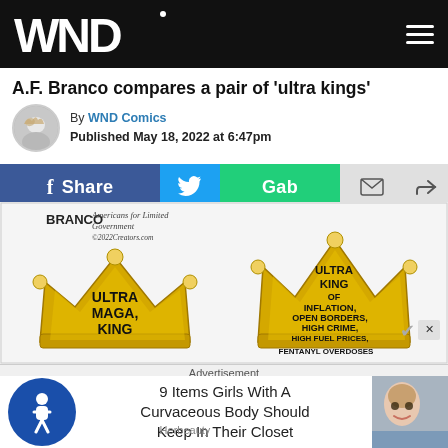WND
A.F. Branco compares a pair of 'ultra kings'
By WND Comics
Published May 18, 2022 at 6:47pm
[Figure (infographic): Social sharing buttons: Facebook Share, Twitter, Gab, Email, Forward]
[Figure (illustration): Branco political cartoon showing two gold crowns: one labeled 'ULTRA MAGA KING' and one labeled 'ULTRA KING OF INFLATION, OPEN BORDERS, HIGH CRIME, HIGH FUEL PRICES, FENTANYL OVERDOSES'. Watermark: Americans for Limited Government, ©2022Creators.com]
Advertisement
9 Items Girls With A Curvaceous Body Should Keep In Their Closet
Herbeauty